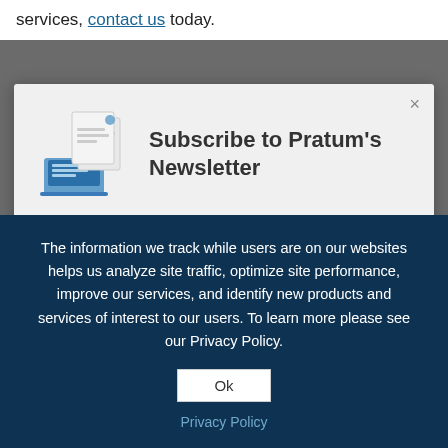services, contact us today.
[Figure (illustration): Illustration of a laptop and documents, representing a newsletter subscription icon]
Subscribe to Pratum's Newsletter
Get the latest cybersecurity news, tips and best practices. Each issue keeps you up to date on the
The information we track while users are on our websites helps us analyze site traffic, optimize site performance, improve our services, and identify new products and services of interest to our users. To learn more please see our Privacy Policy.
Ok
Privacy Policy